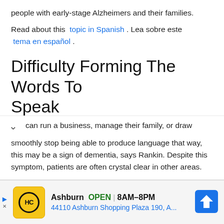people with early-stage Alzheimers and their families.
Read about this topic in Spanish . Lea sobre este tema en español .
Difficulty Forming The Words To Speak
When people who used to be fluent and could speak smoothly stop being able to produce language that way, this may be a sign of dementia, says Rankin. Despite this symptom, patients are often crystal clear in other areas.
can run a business, manage their family, or draw
[Figure (screenshot): Advertisement bar showing HC (Haire Care) logo with yellow background, Ashburn location, OPEN status, hours 8AM-8PM, address 44110 Ashburn Shopping Plaza 190, A..., and a blue navigation arrow icon]